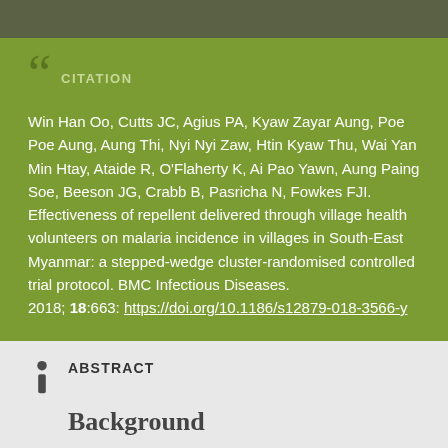CITATION
Win Han Oo, Cutts JC, Agius PA, Kyaw Zayar Aung, Poe Poe Aung, Aung Thi, Nyi Nyi Zaw, Htin Kyaw Thu, Wai Yan Min Htay, Ataide R, O'Flaherty K, Ai Pao Yawn, Aung Paing Soe, Beeson JG, Crabb B, Pasricha N, Fowkes FJI. Effectiveness of repellent delivered through village health volunteers on malaria incidence in villages in South-East Myanmar: a stepped-wedge cluster-randomised controlled trial protocol. BMC Infectious Diseases. 2018; 18:663: https://doi.org/10.1186/s12879-018-3566-y
ABSTRACT
Background